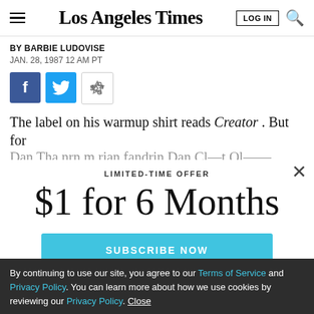Los Angeles Times | LOG IN | [search]
BY BARBIE LUDOVISE
JAN. 28, 1987 12 AM PT
[Figure (other): Social share buttons: Facebook, Twitter, Share]
The label on his warmup shirt reads Creator . But for
LIMITED-TIME OFFER
$1 for 6 Months
SUBSCRIBE NOW
By continuing to use our site, you agree to our Terms of Service and Privacy Policy. You can learn more about how we use cookies by reviewing our Privacy Policy. Close